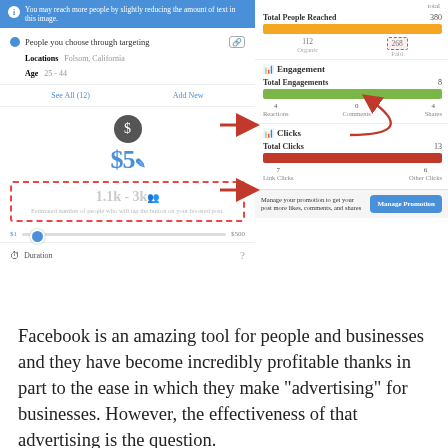[Figure (screenshot): Facebook Ads Manager screenshot showing left panel with targeting settings (People you choose through targeting, Locations: Folsom California, Age: 25-44, See All (12), Add New), budget of $5, estimated reach of 1.1k-3k, duration option; and right panel showing Total People Reached: 380 with orange bar (Organic 112, Paid 268), Engagement section with Total Engagements: 8 and green bar (Reactions 4, Comments 0, Shares 4), Clicks section with Total Clicks: 13 and red bar (Link Clicks 7, Other Clicks 6), Manage Promotion button. Red arrows point from left panel budget area to right panel Paid section.]
Facebook is an amazing tool for people and businesses and they have become incredibly profitable thanks in part to the ease in which they make "advertising" for businesses. However, the effectiveness of that advertising is the question.
You're probably asking yourself, "Is a